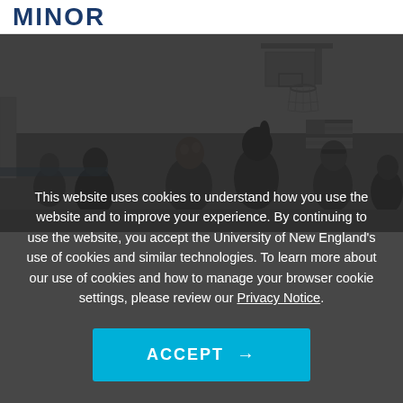MINOR
[Figure (photo): Black and white photo of a basketball gym scene with a coach speaking to female athletes, American flag visible in the background]
This website uses cookies to understand how you use the website and to improve your experience. By continuing to use the website, you accept the University of New England's use of cookies and similar technologies. To learn more about our use of cookies and how to manage your browser cookie settings, please review our Privacy Notice.
ACCEPT →
MINOR IN COACHING →